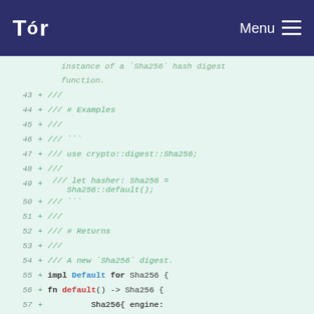Tor | Menu
instance of a `Sha256` hash digest function.
43 + ///
44 + /// # Examples
45 + ///
46 + /// ```
47 + /// use crypto::digest::Sha256;
48 + ///
49 + /// let hasher: Sha256 = Sha256::default();
50 + /// ```
51 + ///
52 + /// # Returns
53 + ///
54 + /// A new `Sha256` digest.
55 + impl Default for Sha256 {
56 +     fn default() -> Sha256 {
57 +         Sha256{ engine: CryptoDigest::new(Some(DigestAlgorithm::SHA2_256)) }